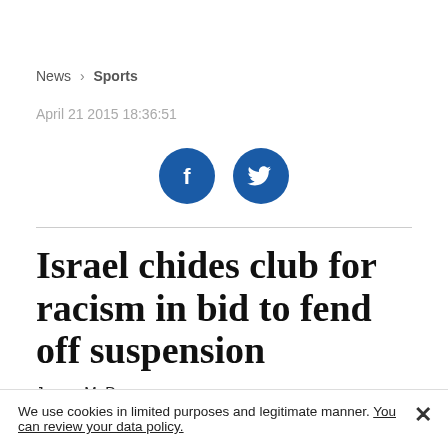News > Sports
April 21 2015 18:36:51
[Figure (infographic): Social sharing icons: Facebook and Twitter circular blue buttons]
Israel chides club for racism in bid to fend off suspension
James M. Dorsey
We use cookies in limited purposes and legitimate manner. You can review your data policy.